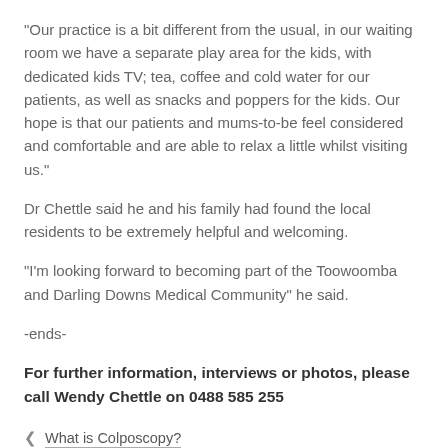"Our practice is a bit different from the usual, in our waiting room we have a separate play area for the kids, with dedicated kids TV; tea, coffee and cold water for our patients, as well as snacks and poppers for the kids. Our hope is that our patients and mums-to-be feel considered and comfortable and are able to relax a little whilst visiting us."
Dr Chettle said he and his family had found the local residents to be extremely helpful and welcoming.
"I'm looking forward to becoming part of the Toowoomba and Darling Downs Medical Community" he said.
-ends-
For further information, interviews or photos, please call Wendy Chettle on 0488 585 255
‹  What is Colposcopy?